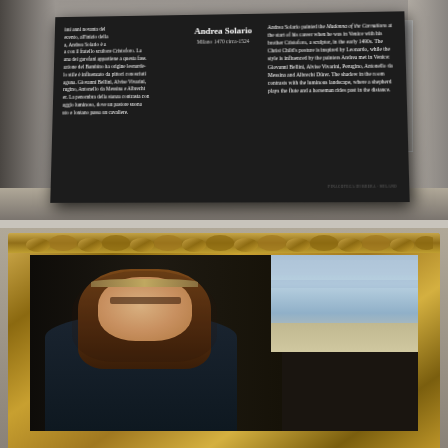[Figure (photo): Museum placard for Andrea Solario on a dark background, photographed at an angle on a shelf in a gallery. The placard contains Italian text on the left, artist name and dates in the center, and English descriptive text on the right about the Madonna of the Carnations painting.]
[Figure (photo): Close-up photograph of a Renaissance painting in an ornate gilded frame. Shows the Madonna (Virgin Mary) with auburn hair and a headband, eyes downcast, against a dark background. A luminous landscape with sky and water is visible through a window in the upper right of the painting. The gilded frame has intricate leaf/floral decorative carvings.]